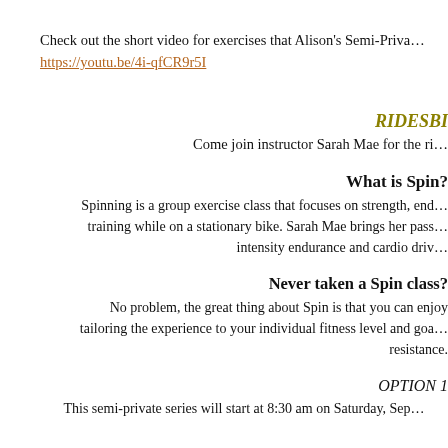Check out the short video for exercises that Alison's Semi-Priva…
https://youtu.be/4i-qfCR9r5I
RIDESBI
Come join instructor Sarah Mae for the ri…
What is Spin?
Spinning is a group exercise class that focuses on strength, end… training while on a stationary bike. Sarah Mae brings her pass… intensity endurance and cardio driv…
Never taken a Spin class?
No problem, the great thing about Spin is that you can enjoy tailoring the experience to your individual fitness level and goa… resistance.
OPTION 1
This semi-private series will start at 8:30 am on Saturday, Sep…